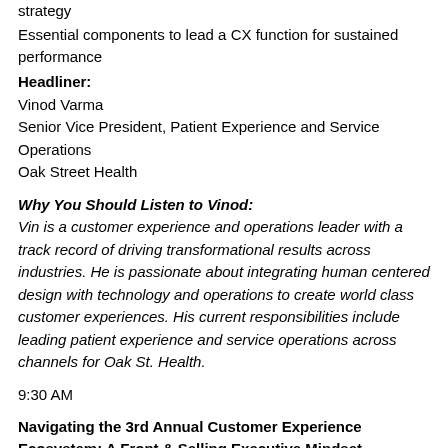strategy
Essential components to lead a CX function for sustained performance
Headliner:
Vinod Varma
Senior Vice President, Patient Experience and Service Operations
Oak Street Health
Why You Should Listen to Vinod:
Vin is a customer experience and operations leader with a track record of driving transformational results across industries. He is passionate about integrating human centered design with technology and operations to create world class customer experiences. His current responsibilities include leading patient experience and service operations across channels for Oak St. Health.
9:30 AM
Navigating the 3rd Annual Customer Experience Ecosystem: A Front & Selling Executive Mindset